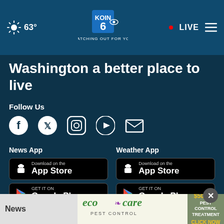[Figure (screenshot): KOIN 6 CBS navigation bar with weather icon showing 63°, KOIN 6 CBS logo with 'WATCHING OUT FOR YOU', red LIVE dot, and hamburger menu icon]
Washington a better place to live
Follow Us
[Figure (infographic): Social media icons: Facebook, Twitter, Instagram, YouTube, Email]
News App
[Figure (screenshot): Download on the App Store button (black)]
[Figure (screenshot): GET IT ON Google Play button (black)]
Weather App
[Figure (screenshot): Download on the App Store button (black)]
[Figure (screenshot): GET IT ON Google Play button (black)]
News
[Figure (infographic): eco care PEST CONTROL advertisement: $50 OFF PEST CONTROL TREATMENT CLICK NOW]